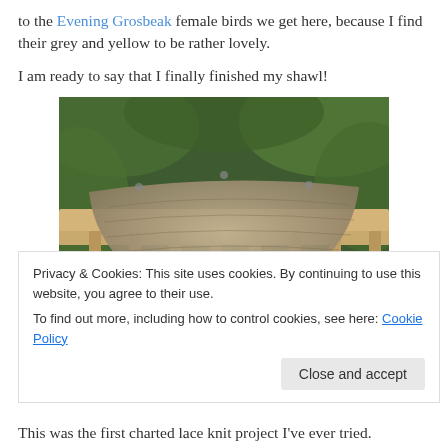to the Evening Grosbeak female birds we get here, because I find their grey and yellow to be rather lovely.
I am ready to say that I finally finished my shawl!
[Figure (photo): A handknitted lace shawl draped over a wooden lattice fence with green foliage in the background. The shawl is triangular in shape with a grey-brown mottled texture and decorative lace edging.]
Privacy & Cookies: This site uses cookies. By continuing to use this website, you agree to their use.
To find out more, including how to control cookies, see here: Cookie Policy
This was the first charted lace knit project I've ever tried.